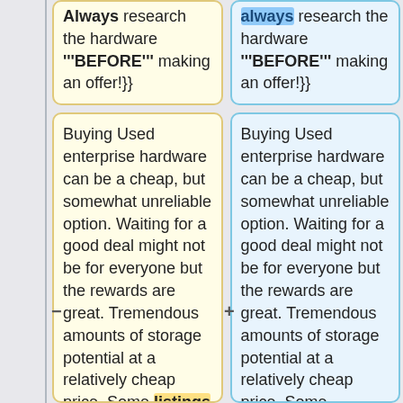Always research the hardware '''BEFORE''' making an offer!}}
always research the hardware '''BEFORE''' making an offer!}}
Buying Used enterprise hardware can be a cheap, but somewhat unreliable option. Waiting for a good deal might not be for everyone but the rewards are great. Tremendous amounts of storage potential at a relatively cheap price. Some listings
Buying Used enterprise hardware can be a cheap, but somewhat unreliable option. Waiting for a good deal might not be for everyone but the rewards are great. Tremendous amounts of storage potential at a relatively cheap price. Some